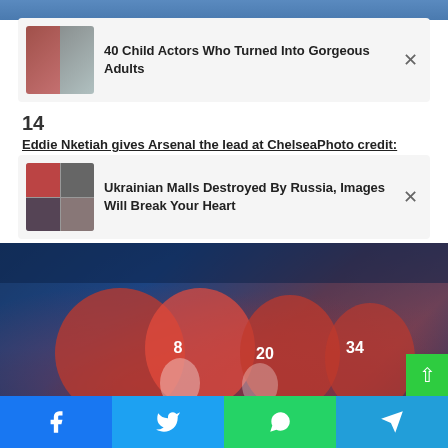[Figure (photo): Partial top photo, cropped sports/player image at top of page]
[Figure (infographic): Ad card 1: '40 Child Actors Who Turned Into Gorgeous Adults' with thumbnail of two young women/girls]
14
Eddie Nketiah gives Arsenal the lead at ChelseaPhoto credit:
[Figure (infographic): Ad card 2: 'Ukrainian Malls Destroyed By Russia, Images Will Break Your Heart' with thumbnail of destroyed buildings]
[Figure (photo): Main football photo: Arsenal players in red and white jerseys celebrating, numbers 8, 20, 34 visible, at Chelsea stadium with blue seats]
[Figure (infographic): Social share bar at bottom with Facebook, Twitter, WhatsApp, and Telegram buttons]